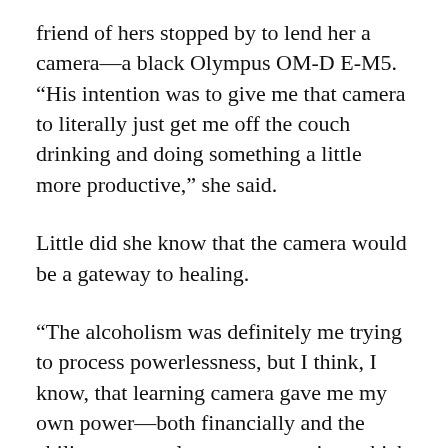friend of hers stopped by to lend her a camera—a black Olympus OM-D E-M5. “His intention was to give me that camera to literally just get me off the couch drinking and doing something a little more productive,” she said.
Little did she know that the camera would be a gateway to healing.
“The alcoholism was definitely me trying to process powerlessness, but I think, I know, that learning camera gave me my own power—both financially and the ability to control my own narrative, which has been incredibly healing for me.”